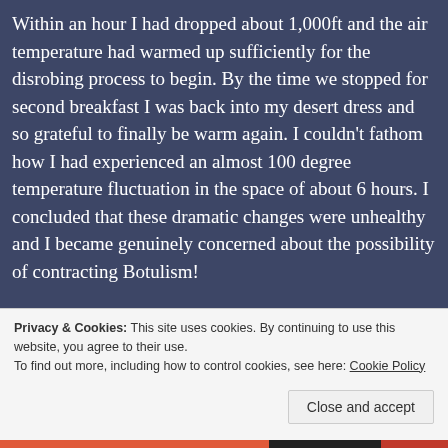Within an hour I had dropped about 1,000ft and the air temperature had warmed up sufficiently for the disrobing process to begin. By the time we stopped for second breakfast I was back into my desert dress and so grateful to finally be warm again. I couldn't fathom how I had experienced an almost 100 degree temperature fluctuation in the space of about 6 hours. I concluded that these dramatic changes were unhealthy and I became genuinely concerned about the possibility of contracting Botulism!
Privacy & Cookies: This site uses cookies. By continuing to use this website, you agree to their use.
To find out more, including how to control cookies, see here: Cookie Policy
Close and accept